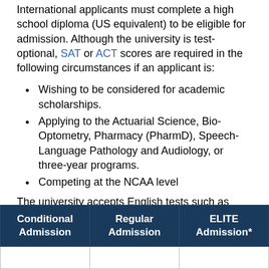International applicants must complete a high school diploma (US equivalent) to be eligible for admission. Although the university is test-optional, SAT or ACT scores are required in the following circumstances if an applicant is:
Wishing to be considered for academic scholarships.
Applying to the Actuarial Science, Bio-Optometry, Pharmacy (PharmD), Speech-Language Pathology and Audiology, or three-year programs.
Competing at the NCAA level
The university accepts English tests such as TOEFL, IELTS, Duolingo, and SAT EWR. International applicants must meet the following minimum English requirements as per study level:
| Conditional Admission | Regular Admission | ELITE Admission* |
| --- | --- | --- |
|  |  |  |